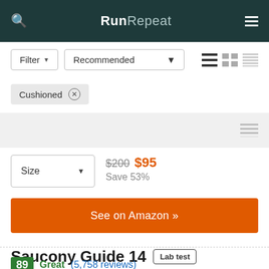RunRepeat
Filter ▾  Recommended ▾
Cushioned ×
$200 $95 Save 53%
See on Amazon »
Saucony Guide 14  Lab test
89 Great (5,758 reviews)